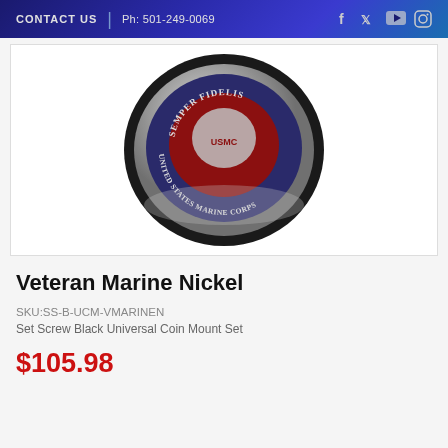CONTACT US  |  Ph: 501-249-0069
[Figure (photo): Close-up photo of a US Marine Corps challenge coin mounted in a black universal coin mount. The coin displays 'SEMPER FIDELIS' and 'UNITED STATES MARINE CORPS' text around a red, blue, and silver emblem with the Marine Corps eagle, globe, and anchor insignia.]
Veteran Marine Nickel
SKU:SS-B-UCM-VMARINEN
Set Screw Black Universal Coin Mount Set
$105.98